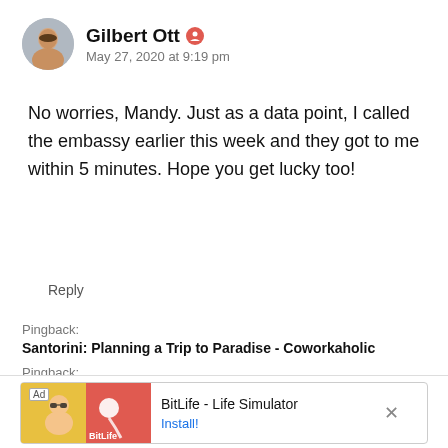[Figure (photo): Circular avatar photo of a man (Gilbert Ott)]
Gilbert Ott [user icon] May 27, 2020 at 9:19 pm
No worries, Mandy. Just as a data point, I called the embassy earlier this week and they got to me within 5 minutes. Hope you get lucky too!
Reply
Pingback:
Santorini: Planning a Trip to Paradise - Coworkaholic
Pingback:
Frequent flyer reveals what it's like to fly business from Heathrow to NYC during Covid-19 crisis » World Top Buzz
[Figure (screenshot): Advertisement banner for BitLife - Life Simulator app with Install button]